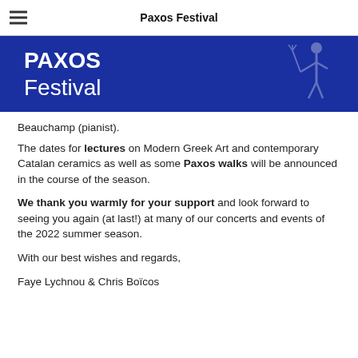Paxos Festival
[Figure (logo): Paxos Festival blue banner with white text reading PAXOS Festival and a faint classical figure holding a trident on the right]
Beauchamp (pianist).
The dates for lectures on Modern Greek Art and contemporary Catalan ceramics as well as some Paxos walks will be announced in the course of the season.
We thank you warmly for your support and look forward to seeing you again (at last!) at many of our concerts and events of the 2022 summer season.
With our best wishes and regards,
Faye Lychnou & Chris Boïcos